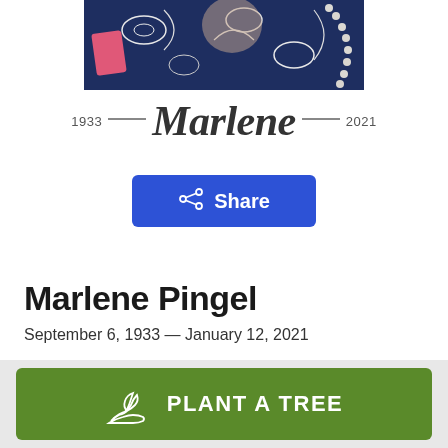[Figure (photo): Cropped photo of Marlene Pingel wearing a navy floral print outfit and pearl necklace]
1933 — Marlene — 2021
Share
Marlene Pingel
September 6, 1933 — January 12, 2021
PLANT A TREE